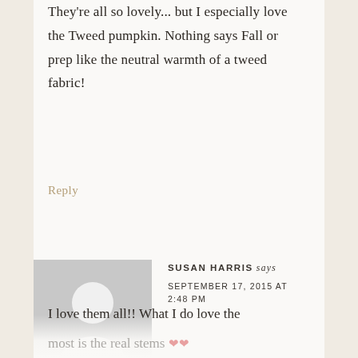They're all so lovely... but I especially love the Tweed pumpkin. Nothing says Fall or prep like the neutral warmth of a tweed fabric!
Reply
[Figure (illustration): Generic avatar placeholder: grey rectangle with white silhouette of a person (head circle and shoulders)]
SUSAN HARRIS says
SEPTEMBER 17, 2015 AT 2:48 PM
I love them all!! What I do love the most is the real stems ❤❤